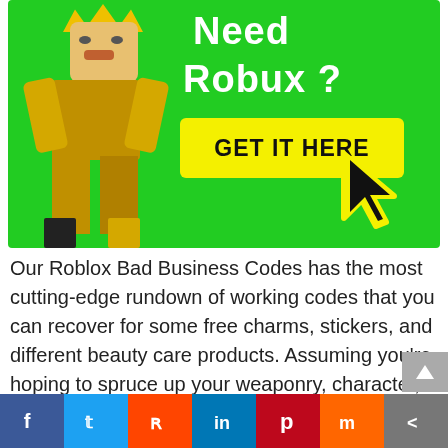[Figure (illustration): Green banner ad with Roblox character in gold outfit and crown on left, white bold text 'Need Robux?' on right, yellow 'GET IT HERE' button, and black/yellow cursor arrow pointing at button.]
Our Roblox Bad Business Codes has the most cutting-edge rundown of working codes that you can recover for some free charms, stickers, and different beauty care products. Assuming you're hoping to spruce up your weaponry, character, and loadout these codes should assist you with doing that!
[Figure (other): Social sharing bar with Facebook, Twitter, Reddit, LinkedIn, Pinterest, Mix, and share icons.]